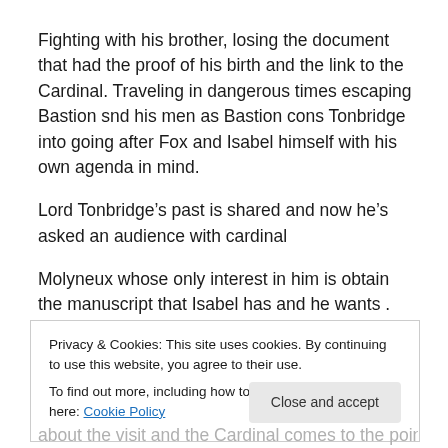Fighting with his brother, losing the document that had the proof of his birth and the link to the Cardinal. Traveling in dangerous times escaping Bastion snd his men as Bastion cons Tonbridge into going after Fox and Isabel himself with his own agenda in mind.
Lord Tonbridge’s past is shared and now he’s asked an audience with cardinal
Molyneux whose only interest in him is obtain the manuscript that Isabel has and he wants . Deciding to go
Privacy & Cookies: This site uses cookies. By continuing to use this website, you agree to their use.
To find out more, including how to control cookies, see here: Cookie Policy
about the visit and the Cardinal comes to the point about